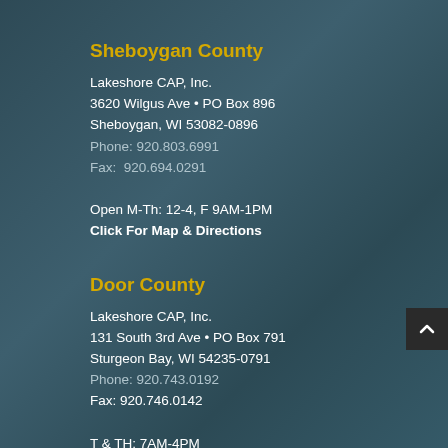Sheboygan County
Lakeshore CAP, Inc.
3620 Wilgus Ave • PO Box 896
Sheboygan, WI 53082-0896
Phone: 920.803.6991
Fax:  920.694.0291

Open M-Th: 12-4, F 9AM-1PM
Click For Map & Directions
Door County
Lakeshore CAP, Inc.
131 South 3rd Ave • PO Box 791
Sturgeon Bay, WI 54235-0791
Phone: 920.743.0192
Fax: 920.746.0142

T & TH: 7AM-4PM
Click For Map & Directions
JAK's Place – Door County